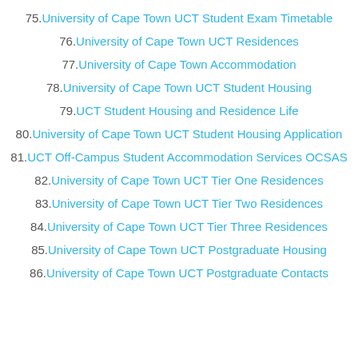75. University of Cape Town UCT Student Exam Timetable
76. University of Cape Town UCT Residences
77. University of Cape Town Accommodation
78. University of Cape Town UCT Student Housing
79. UCT Student Housing and Residence Life
80. University of Cape Town UCT Student Housing Application
81. UCT Off-Campus Student Accommodation Services OCSAS
82. University of Cape Town UCT Tier One Residences
83. University of Cape Town UCT Tier Two Residences
84. University of Cape Town UCT Tier Three Residences
85. University of Cape Town UCT Postgraduate Housing
86. University of Cape Town UCT Postgraduate Contacts